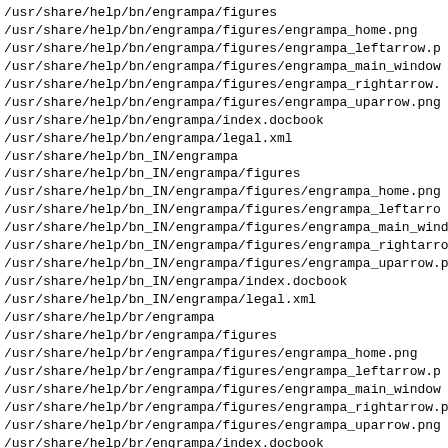/usr/share/help/bn/engrampa/figures
/usr/share/help/bn/engrampa/figures/engrampa_home.png
/usr/share/help/bn/engrampa/figures/engrampa_leftarrow.png
/usr/share/help/bn/engrampa/figures/engrampa_main_window
/usr/share/help/bn/engrampa/figures/engrampa_rightarrow.png
/usr/share/help/bn/engrampa/figures/engrampa_uparrow.png
/usr/share/help/bn/engrampa/index.docbook
/usr/share/help/bn/engrampa/legal.xml
/usr/share/help/bn_IN/engrampa
/usr/share/help/bn_IN/engrampa/figures
/usr/share/help/bn_IN/engrampa/figures/engrampa_home.png
/usr/share/help/bn_IN/engrampa/figures/engrampa_leftarrow
/usr/share/help/bn_IN/engrampa/figures/engrampa_main_window
/usr/share/help/bn_IN/engrampa/figures/engrampa_rightarrow
/usr/share/help/bn_IN/engrampa/figures/engrampa_uparrow.png
/usr/share/help/bn_IN/engrampa/index.docbook
/usr/share/help/bn_IN/engrampa/legal.xml
/usr/share/help/br/engrampa
/usr/share/help/br/engrampa/figures
/usr/share/help/br/engrampa/figures/engrampa_home.png
/usr/share/help/br/engrampa/figures/engrampa_leftarrow.png
/usr/share/help/br/engrampa/figures/engrampa_main_window
/usr/share/help/br/engrampa/figures/engrampa_rightarrow.png
/usr/share/help/br/engrampa/figures/engrampa_uparrow.png
/usr/share/help/br/engrampa/index.docbook
/usr/share/help/br/engrampa/legal.xml
/usr/share/help/bs/engrampa
/usr/share/help/bs/engrampa/figures
/usr/share/help/bs/engrampa/figures/engrampa_home.png
/usr/share/help/bs/engrampa/figures/engrampa_leftarrow.png